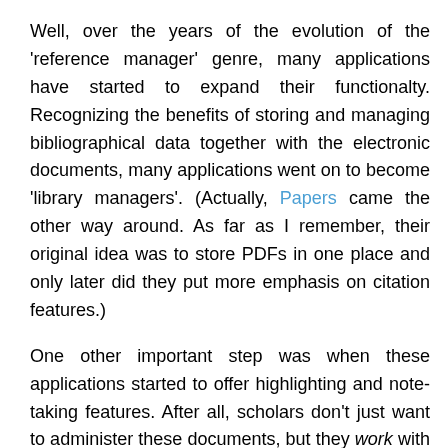Well, over the years of the evolution of the 'reference manager' genre, many applications have started to expand their functionalty. Recognizing the benefits of storing and managing bibliographical data together with the electronic documents, many applications went on to become 'library managers'. (Actually, Papers came the other way around. As far as I remember, their original idea was to store PDFs in one place and only later did they put more emphasis on citation features.)
One other important step was when these applications started to offer highlighting and note-taking features. After all, scholars don't just want to administer these documents, but they work with them before they use them as cited sources. Okay, now they store store highlights and notes with each PDF. I am thankful for that, but that I